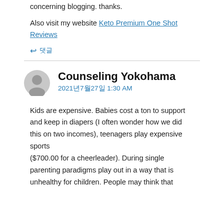concerning blogging. thanks.
Also visit my website Keto Premium One Shot Reviews
↩ 댓글
Counseling Yokohama
2021년7월27일 1:30 AM
Kids are expensive. Babies cost a ton to support and keep in diapers (I often wonder how we did this on two incomes), teenagers play expensive sports ($700.00 for a cheerleader). During single parenting paradigms play out in a way that is unhealthy for children. People may think that